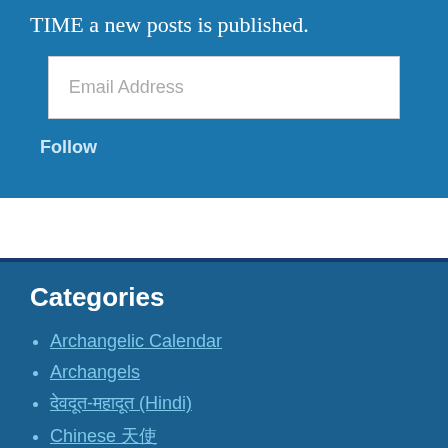TIME a new posts is published.
Email Address
Follow
Categories
Archangelic Calendar
Archangels
देवदूत-महादूत (Hindi)
Chinese 天使
Русский